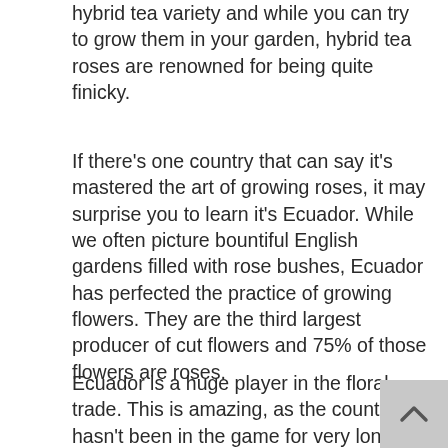hybrid tea variety and while you can try to grow them in your garden, hybrid tea roses are renowned for being quite finicky.
If there's one country that can say it's mastered the art of growing roses, it may surprise you to learn it's Ecuador. While we often picture bountiful English gardens filled with rose bushes, Ecuador has perfected the practice of growing flowers. They are the third largest producer of cut flowers and 75% of those flowers are roses.
Ecuador is a huge player in the floral trade. This is amazing, as the country hasn't been in the game for very long — just since the 90s. Ecuador's roses are recognized as some of the highest quality in the world. Florists prefer them over other roses because of their larger size, scent, and longe (arrangements of Ecuadorean roses will last to two weeks with proper care).